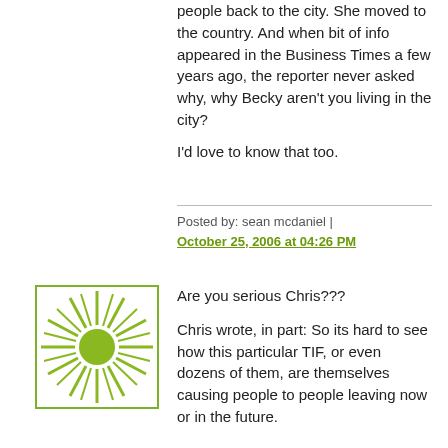people back to the city. She moved to the country. And when bit of info appeared in the Business Times a few years ago, the reporter never asked why, why Becky aren't you living in the city?
I'd love to know that too.
Posted by: sean mcdaniel | October 25, 2006 at 04:26 PM
[Figure (illustration): Green sunburst/starburst avatar icon with a green circle in the center on a white background, bordered by a green rectangle outline.]
Are you serious Chris???
Chris wrote, in part: So its hard to see how this particular TIF, or even dozens of them, are themselves causing people to people leaving now or in the future.